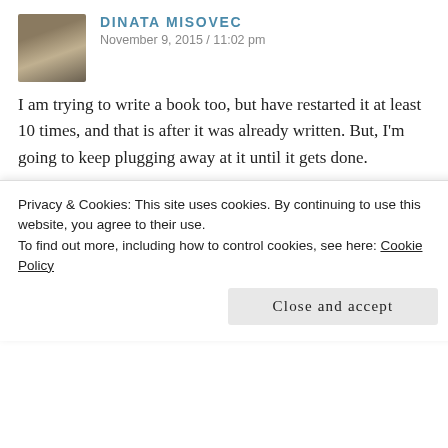DINATA MISOVEC
November 9, 2015 / 11:02 pm
I am trying to write a book too, but have restarted it at least 10 times, and that is after it was already written. But, I'm going to keep plugging away at it until it gets done.
★ Liked by 1 person
↩ Reply
AFRIKA BOHEMIAN
November 10, 2015 / 1:50 am
Privacy & Cookies: This site uses cookies. By continuing to use this website, you agree to their use.
To find out more, including how to control cookies, see here: Cookie Policy
Close and accept